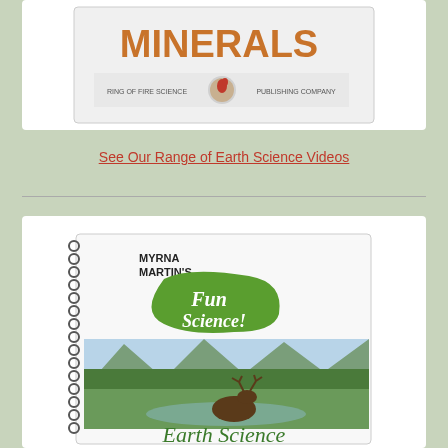[Figure (illustration): Book cover showing 'MINERALS' in orange text with Ring of Fire Science Publishing Company logo at bottom, displayed in a white card with rounded corners]
See Our Range of Earth Science Videos
[Figure (illustration): Spiral-bound workbook cover titled 'Myrna Martin's Fun Science! Earth Science' featuring a photo of a moose in a wetland with mountains in the background, displayed in a white card]